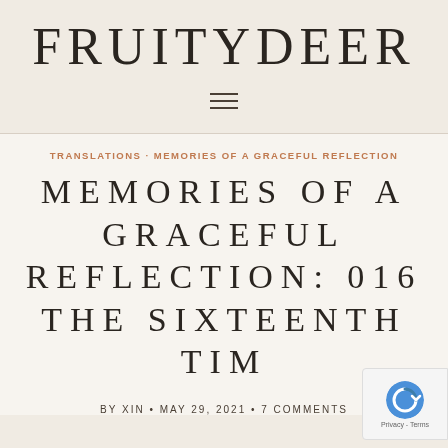FRUITYDEER
TRANSLATIONS · MEMORIES OF A GRACEFUL REFLECTION
MEMORIES OF A GRACEFUL REFLECTION: 016 THE SIXTEENTH TIM
BY XIN • MAY 29, 2021 • 7 COMMENTS